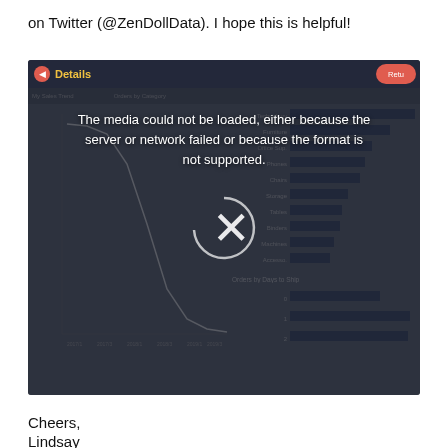on Twitter (@ZenDollData). I hope this is helpful!
[Figure (screenshot): Screenshot of a Tableau-like dashboard showing a line chart (Sales Trend) on the left and horizontal bar charts on the right. An error overlay reads: 'The media could not be loaded, either because the server or network failed or because the format is not supported.' with an X symbol in the center.]
Cheers,
Lindsay